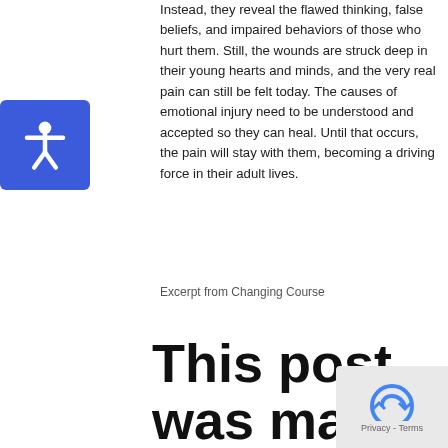Instead, they reveal the flawed thinking, false beliefs, and impaired behaviors of those who hurt them. Still, the wounds are struck deep in their young hearts and minds, and the very real pain can still be felt today. The causes of emotional injury need to be understood and accepted so they can heal. Until that occurs, the pain will stay with them, becoming a driving force in their adult lives.
Excerpt from Changing Course
This post was made by Claudia Black, Author of Intimate Treason and